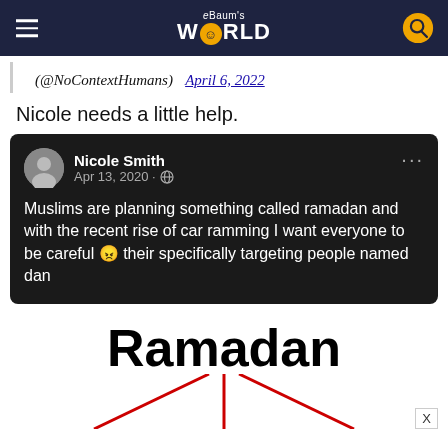eBaum's WORLD
(@NoContextHumans) April 6, 2022
Nicole needs a little help.
[Figure (screenshot): Dark-themed social media post by Nicole Smith, Apr 13, 2020. Text: Muslims are planning something called ramadan and with the recent rise of car ramming I want everyone to be careful 😠 their specifically targeting people named dan]
Ramadan
[Figure (illustration): Three red lines radiating downward like a fan (left diagonal, center vertical, right diagonal), suggesting a diagram partially cut off at bottom]